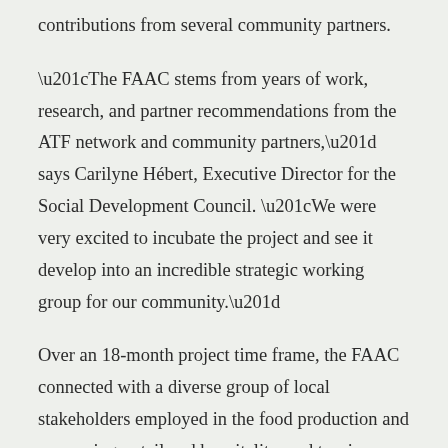contributions from several community partners.
“The FAAC stems from years of work, research, and partner recommendations from the ATF network and community partners,” says Carilyne Hébert, Executive Director for the Social Development Council. “We were very excited to incubate the project and see it develop into an incredible strategic working group for our community.”
Over an 18-month project time frame, the FAAC connected with a diverse group of local stakeholders employed in the food production and processing, retail and hospitality, and tourism. The work included organized focus groups, pilot projects, educational certification seminars, and networking events centred on food sector priorities for the region.
Some unexpected highlights from the project include the